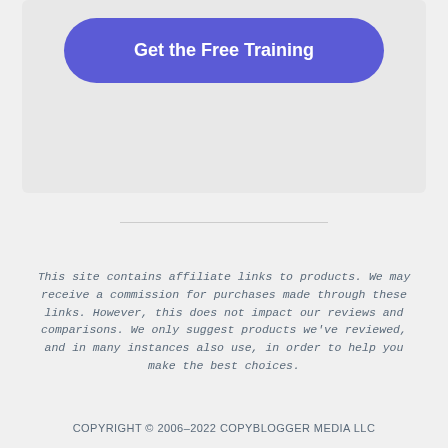[Figure (other): Button labeled 'Get the Free Training' with purple rounded background inside a light gray card]
This site contains affiliate links to products. We may receive a commission for purchases made through these links. However, this does not impact our reviews and comparisons. We only suggest products we've reviewed, and in many instances also use, in order to help you make the best choices.
COPYRIGHT © 2006–2022 COPYBLOGGER MEDIA LLC